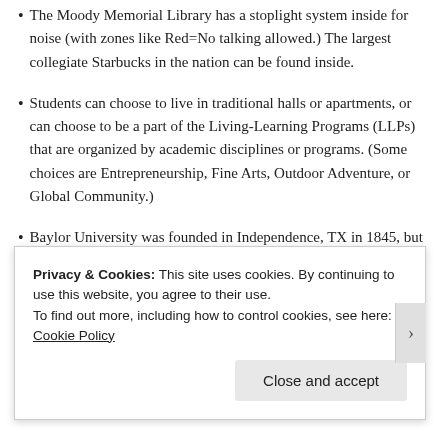The Moody Memorial Library has a stoplight system inside for noise (with zones like Red=No talking allowed.) The largest collegiate Starbucks in the nation can be found inside.
Students can choose to live in traditional halls or apartments, or can choose to be a part of the Living-Learning Programs (LLPs) that are organized by academic disciplines or programs. (Some choices are Entrepreneurship, Fine Arts, Outdoor Adventure, or Global Community.)
Baylor University was founded in Independence, TX in 1845, but moved to the current location in Waco in 1886.
Each student is required to complete two semesters of Chapel
Privacy & Cookies: This site uses cookies. By continuing to use this website, you agree to their use. To find out more, including how to control cookies, see here: Cookie Policy